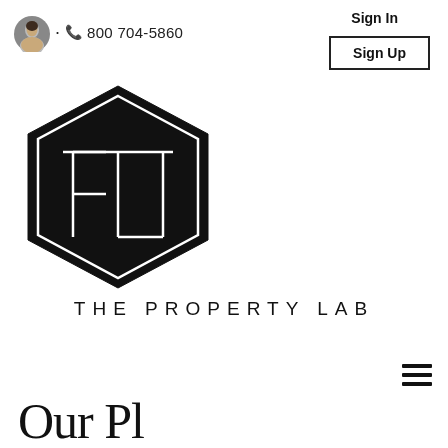[Figure (photo): Agent profile photo - small circular headshot of a woman with dark hair]
· 📞 800 704-5860
Sign In
Sign Up
[Figure (logo): The Property Lab hexagon logo - black hexagon with PTL letters inside, double border]
THE PROPERTY LAB
[Figure (other): Hamburger menu icon - three horizontal lines]
Our Pl... (partial, cut off at bottom)